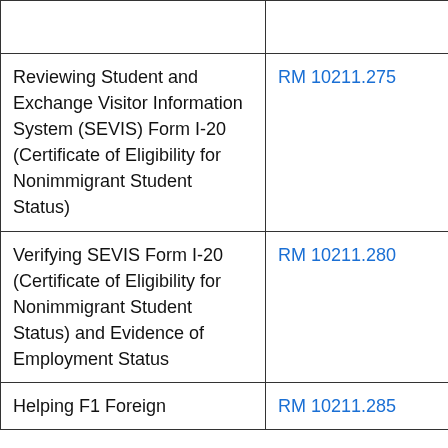|  |  |
| Reviewing Student and Exchange Visitor Information System (SEVIS) Form I-20 (Certificate of Eligibility for Nonimmigrant Student Status) | RM 10211.275 |
| Verifying SEVIS Form I-20 (Certificate of Eligibility for Nonimmigrant Student Status) and Evidence of Employment Status | RM 10211.280 |
| Helping F1 Foreign | RM 10211.285 |